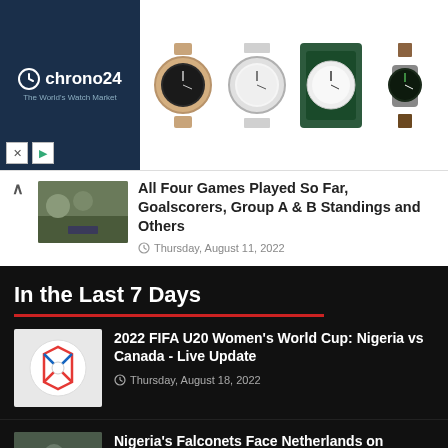[Figure (logo): Chrono24 advertisement banner with watch images]
All Four Games Played So Far, Goalscorers, Group A & B Standings and Others
Thursday, August 11, 2022
In the Last 7 Days
2022 FIFA U20 Women's World Cup: Nigeria vs Canada - Live Update
Thursday, August 18, 2022
Nigeria's Falconets Face Netherlands on Sunday in 2022 FIFA U20 WWC Quarter-Final, See Time, How to Watch and Other Details
Thursday, August 18, 2022
2022 FIFA U20 Women's World Cup Quarter-